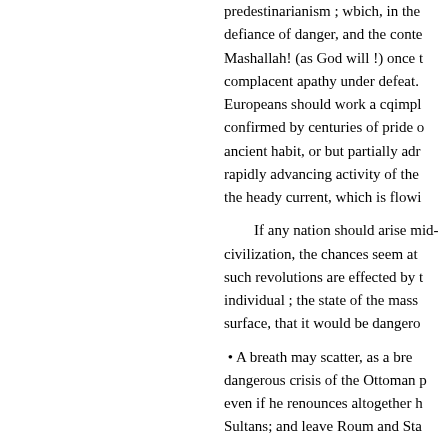predestinarianism ; wbich, in the defiance of danger, and the conte Mashallah! (as God will !) once complacent apathy under defeat. Europeans should work a cqimpl confirmed by centuries of pride o ancient habit, or but partially adr rapidly advancing activity of the the heady current, which is flowi
If any nation should arise mid civilization, the chances seem at such revolutions are effected by t individual ; the state of the mass surface, that it would be dangero
• A breath may scatter, as a bre dangerous crisis of the Ottoman p even if he renounces altogether h Sultans; and leave Roum and Sta
The Turkish history, as yet, has la rise alone of the Ottoman power, general reader, in the rapid but m